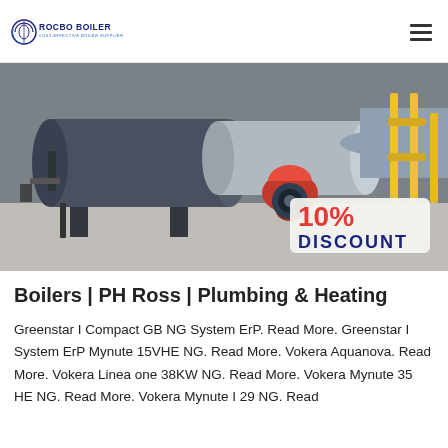[Figure (logo): Rocbo Boiler logo with circular arc icon and text 'ROCBO BOILER / COST-EFFECTIVE BOILER SUPPLIER' in blue/navy]
[Figure (photo): Industrial boiler facility showing large horizontal fire-tube boilers with a red burner and yellow gas pipes. A '10% DISCOUNT' badge is overlaid in the bottom-right corner.]
Boilers | PH Ross | Plumbing & Heating
Greenstar I Compact GB NG System ErP. Read More. Greenstar I System ErP Mynute 15VHE NG. Read More. Vokera Aquanova. Read More. Vokera Linea one 38KW NG. Read More. Vokera Mynute 35 HE NG. Read More. Vokera Mynute I 29 NG. Read